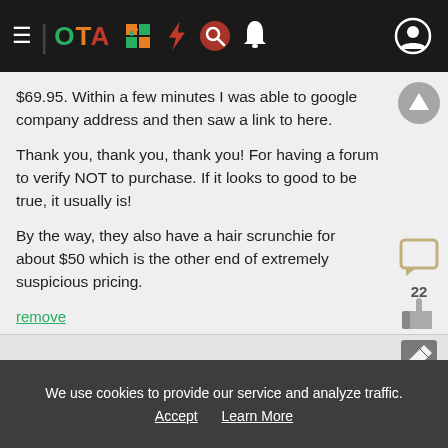OTA navigation bar with hamburger menu, OTA logo, icons
$69.95. Within a few minutes I was able to google company address and then saw a link to here.

Thank you, thank you, thank you! For having a forum to verify NOT to purchase. If it looks to good to be true, it usually is!

By the way, they also have a hair scrunchie for about $50 which is the other end of extremely suspicious pricing.
remove
Reply►
We use cookies to provide our service and analyze traffic. Accept  Learn More